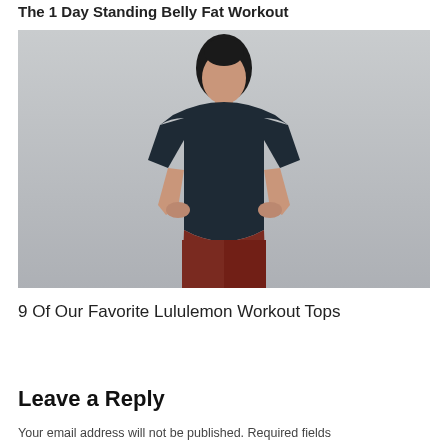The 1 Day Standing Belly Fat Workout
[Figure (photo): A woman wearing a dark navy short-sleeve top and dark red/maroon pants, standing against a light grey background, hands behind her back.]
9 Of Our Favorite Lululemon Workout Tops
Leave a Reply
Your email address will not be published. Required fields